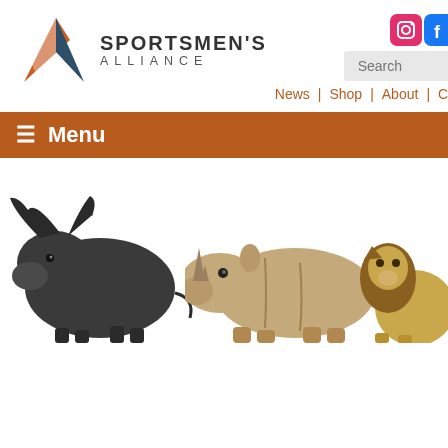[Figure (logo): Sportsmen's Alliance logo with geometric mountain/arrow mark in orange and dark teal, with text SPORTSMEN'S ALLIANCE]
[Figure (infographic): Social media icons row: Instagram, Facebook, Twitter, LinkedIn, YouTube]
[Figure (screenshot): Search bar with placeholder text 'Search']
News | Shop | About | Contact | Careers
≡ Menu
[Figure (photo): Three African big game animals on white background: Cape buffalo on left, white rhinoceros in center, lion partially visible on right]